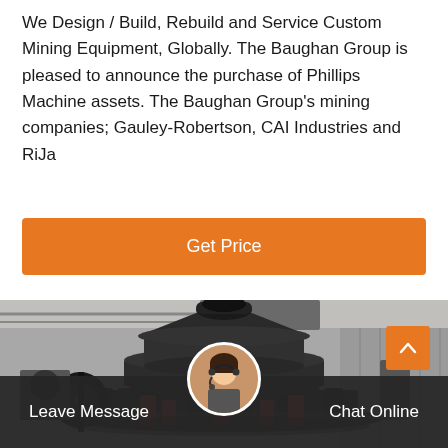We Design / Build, Rebuild and Service Custom Mining Equipment, Globally. The Baughan Group is pleased to announce the purchase of Phillips Machine assets. The Baughan Group's mining companies; Gauley-Robertson, CAI Industries and RiJa
Get Price
[Figure (photo): Large industrial cone crusher / mining machine in a warehouse facility. The machine is predominantly dark grey/black with red hydraulic supports at the base. Industrial shed with corrugated metal walls visible in background.]
Leave Message
Chat Online